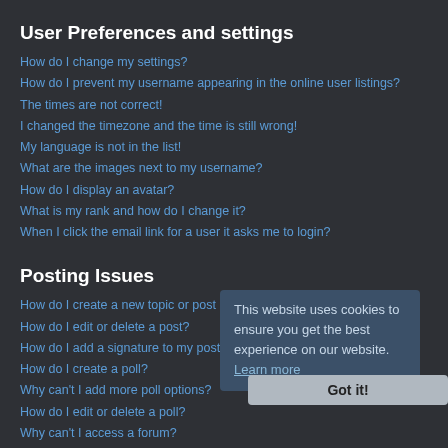User Preferences and settings
How do I change my settings?
How do I prevent my username appearing in the online user listings?
The times are not correct!
I changed the timezone and the time is still wrong!
My language is not in the list!
What are the images next to my username?
How do I display an avatar?
What is my rank and how do I change it?
When I click the email link for a user it asks me to login?
Posting Issues
How do I create a new topic or post a reply?
How do I edit or delete a post?
How do I add a signature to my post?
How do I create a poll?
Why can't I add more poll options?
How do I edit or delete a poll?
Why can't I access a forum?
Why can't I add attachments?
Why did I receive a warning?
How can I report posts to a moderator?